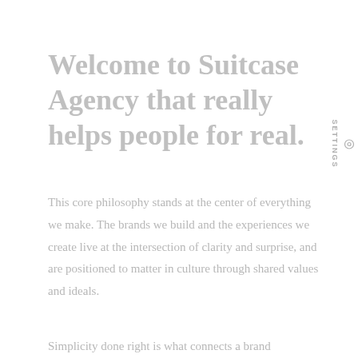Welcome to Suitcase Agency that really helps people for real.
This core philosophy stands at the center of everything we make. The brands we build and the experiences we create live at the intersection of clarity and surprise, and are positioned to matter in culture through shared values and ideals.
Simplicity done right is what connects a brand
SETTINGS